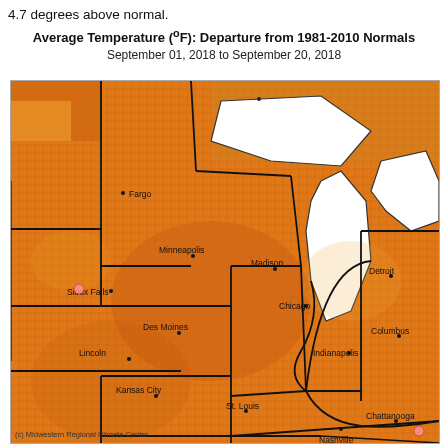4.7 degrees above normal.
Average Temperature (°F): Departure from 1981-2010 Normals
September 01, 2018 to September 20, 2018
[Figure (map): Choropleth county-level temperature departure map of the Midwestern United States showing orange-shaded regions indicating above-normal temperatures. Cities labeled include Fargo, Minneapolis, Sioux Falls, Des Moines, Lincoln, Kansas City, St. Louis, Madison, Chicago, Indianapolis, Nashville, Detroit, Columbus, Chattanooga. A small pink/red dot near Sioux Falls and one near Nashville/Chattanooga area indicate anomalous readings. The Lake Michigan and Lake Superior areas show white (water). Attribution: (c) Midwestern Regional Climate Center.]